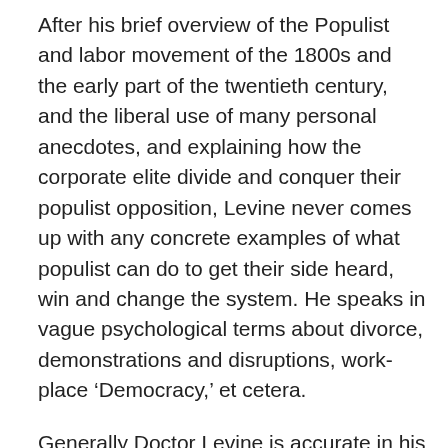After his brief overview of the Populist and labor movement of the 1800s and the early part of the twentieth century, and the liberal use of many personal anecdotes, and explaining how the corporate elite divide and conquer their populist opposition, Levine never comes up with any concrete examples of what populist can do to get their side heard, win and change the system. He speaks in vague psychological terms about divorce, demonstrations and disruptions, work-place ‘Democracy,’ et cetera.
Generally Doctor Levine is accurate in his portrayal of history and events. This reviewer takes issue with Levine’s description of the North American Free Trade Agreement. As one who was born and grew up along the US Mexican border, saw the start of the maquiladora movement in the sixties and seventies and its full implementation during the 80s, and who lived in Mexico at the time of the passage of